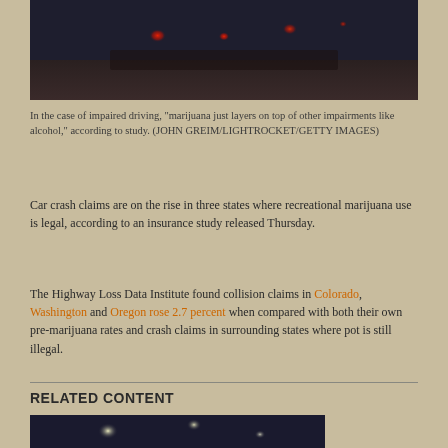[Figure (photo): Blurred photo of car tail lights at night on a road, dark reddish bokeh lights visible]
In the case of impaired driving, "marijuana just layers on top of other impairments like alcohol," according to study. (JOHN GREIM/LIGHTROCKET/GETTY IMAGES)
Car crash claims are on the rise in three states where recreational marijuana use is legal, according to an insurance study released Thursday.
The Highway Loss Data Institute found collision claims in Colorado, Washington and Oregon rose 2.7 percent when compared with both their own pre-marijuana rates and crash claims in surrounding states where pot is still illegal.
RELATED CONTENT
[Figure (photo): Blurred photo of road at night with bokeh lights, dark blue and yellow tones]